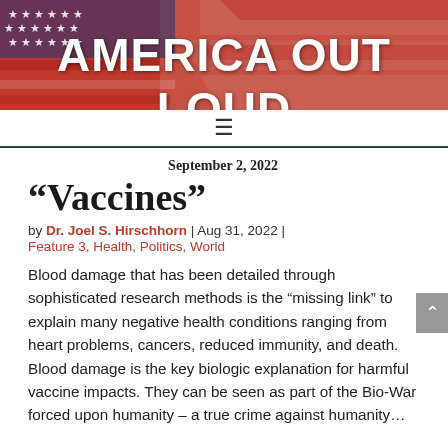AMERICA OUT LOUD
September 2, 2022
“Vaccines”
by Dr. Joel S. Hirschhorn | Aug 31, 2022 | Feature 3, Health, Politics, World
Blood damage that has been detailed through sophisticated research methods is the “missing link” to explain many negative health conditions ranging from heart problems, cancers, reduced immunity, and death. Blood damage is the key biologic explanation for harmful vaccine impacts. They can be seen as part of the Bio-War forced upon humanity – a true crime against humanity…